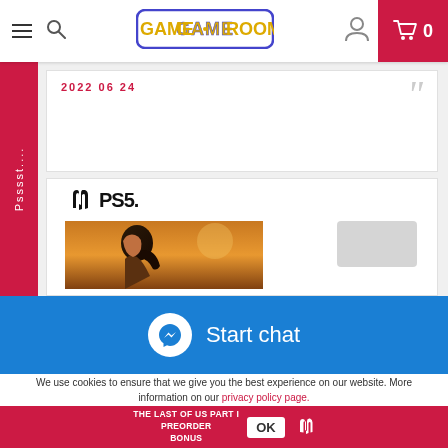GAME ROOM — navigation header with menu, search, logo, user icon, cart (0)
2022 06 24
[Figure (photo): PS5 game box art for The Last of Us Part I — side profile of a young woman with dark ponytail hair against a warm golden-orange sky background]
[Figure (screenshot): Start chat button overlay bar (blue background with Messenger icon)]
We use cookies to ensure that we give you the best experience on our website. More information on our privacy policy page.
THE LAST OF US PART I PREORDER BONUS — OK — PlayStation logo